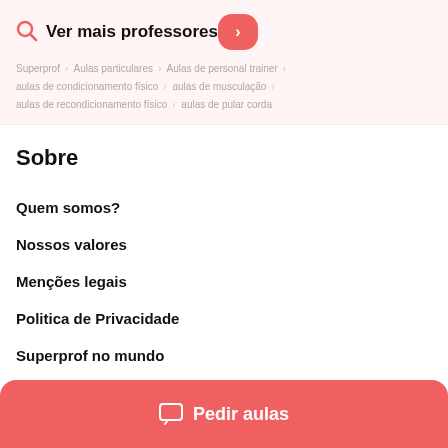Ver mais professores
Superprof > Aulas particulares > Aulas de personal trainer > aulas de condicionamento físico > aulas de musculação > aulas de recondicionamento físico > aulas de pular corda
Sobre
Quem somos?
Nossos valores
Menções legais
Politica de Privacidade
Superprof no mundo
Pedir aulas